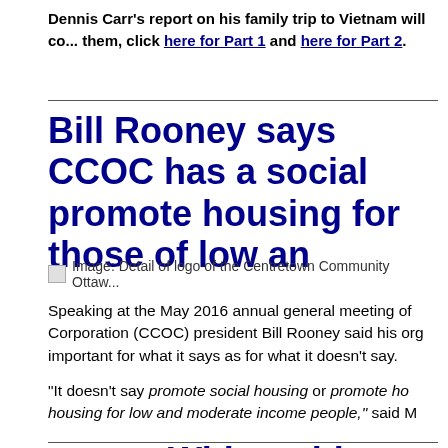Dennis Carr's report on his family trip to Vietnam will co... them, click here for Part 1 and here for Part 2.
Bill Rooney says CCOC has a social ... promote housing for those of low an...
[Figure (illustration): Image: Detail of logo of the Centretown Community Ottawa...]
Speaking at the May 2016 annual general meeting of ... Corporation (CCOC) president Bill Rooney said his org... important for what it says as for what it doesn't say.
"It doesn't say promote social housing or promote ho... housing for low and moderate income people," said M...
Without bias we are c...